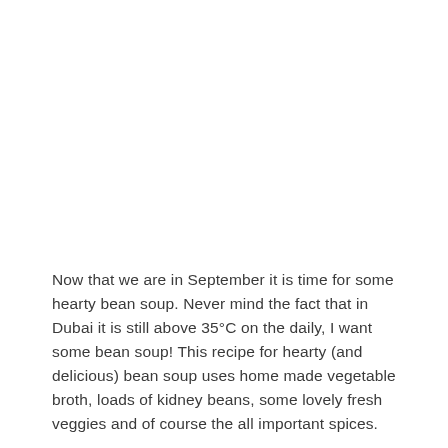Now that we are in September it is time for some hearty bean soup. Never mind the fact that in Dubai it is still above 35°C on the daily, I want some bean soup! This recipe for hearty (and delicious) bean soup uses home made vegetable broth, loads of kidney beans, some lovely fresh veggies and of course the all important spices.